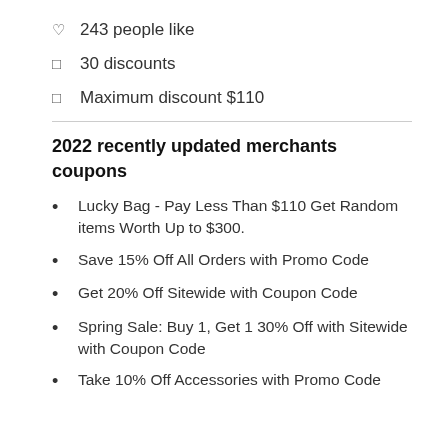243 people like
30 discounts
Maximum discount $110
2022 recently updated merchants coupons
Lucky Bag - Pay Less Than $110 Get Random items Worth Up to $300.
Save 15% Off All Orders with Promo Code
Get 20% Off Sitewide with Coupon Code
Spring Sale: Buy 1, Get 1 30% Off with Sitewide with Coupon Code
Take 10% Off Accessories with Promo Code